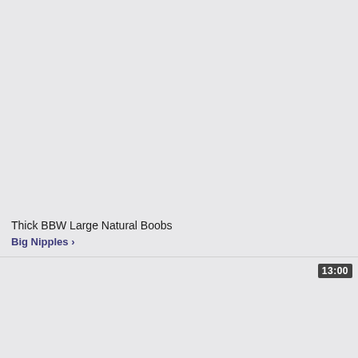[Figure (screenshot): Video thumbnail placeholder - light gray background, top card area]
Thick BBW Large Natural Boobs
Big Nipples >
[Figure (screenshot): Second video thumbnail placeholder - light gray background with duration badge showing 13:00]
13:00